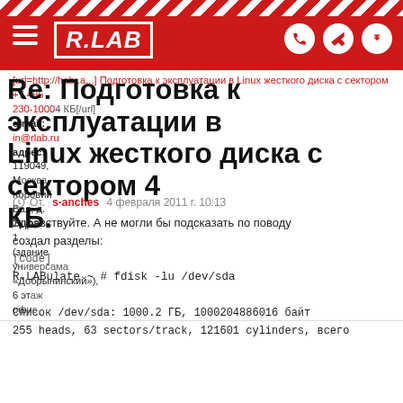R.LAB
[url=http://habr...] Подготовка к эксплуатации в Linux жесткого диска с сектором 4 КБ[/url]
e-mail:
in@rlab.ru
адрес:
119049,
Москва,
Коровий
Вал, д.
1, кор.
1
(здание универсама «Добрынинский»),
6 этаж
офис
Re: Подготовка к эксплуатации в Linux жесткого диска с сектором 4 КБ.
От. s-anches 4 февраля 2011 г. 10:13
Здравствуйте. А не могли бы подсказать по поводу создал разделы:
[code]
R.LABulate ~ # fdisk -lu /dev/sda

Список /dev/sda: 1000.2 ГБ, 1000204886016 байт
255 heads, 63 sectors/track, 121601 cylinders, всего